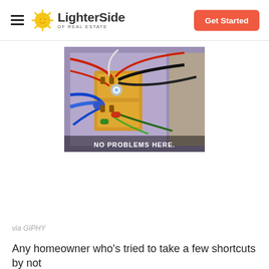LighterSide OF REAL ESTATE | Get Started
[Figure (screenshot): Animated GIF screenshot from a cartoon showing a wall electrical outlet overloaded with multiple colorful wires and sparks. Subtitle text reads: NO PROBLEMS HERE.]
via GIPHY
Any homeowner who's tried to take a few shortcuts by not